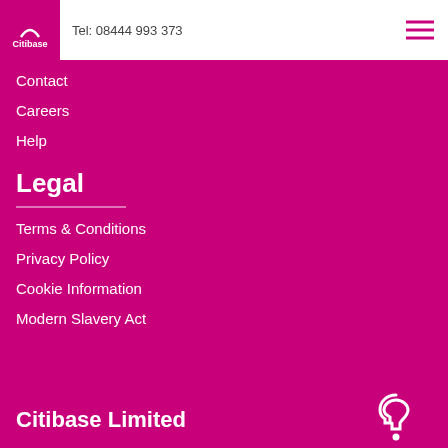Citibase  Tel: 08444 993 373
Contact
Careers
Help
Legal
Terms & Conditions
Privacy Policy
Cookie Information
Modern Slavery Act
Citibase Limited